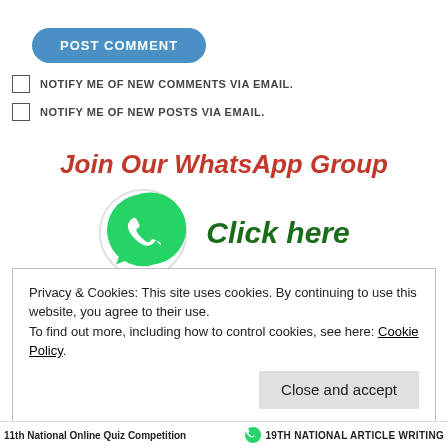[Figure (other): POST COMMENT button — rounded blue pill button with white uppercase text]
NOTIFY ME OF NEW COMMENTS VIA EMAIL.
NOTIFY ME OF NEW POSTS VIA EMAIL.
Join Our WhatsApp Group
[Figure (logo): WhatsApp green circular logo with phone handset icon, followed by bold italic green text 'Click here']
Privacy & Cookies: This site uses cookies. By continuing to use this website, you agree to their use.
To find out more, including how to control cookies, see here: Cookie Policy.
Close and accept
11th National Online Quiz Competition    19TH NATIONAL ARTICLE WRITING